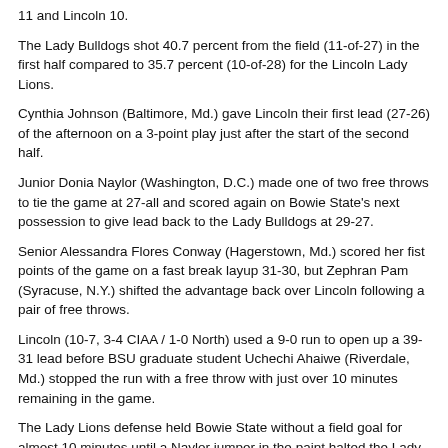11 and Lincoln 10.
The Lady Bulldogs shot 40.7 percent from the field (11-of-27) in the first half compared to 35.7 percent (10-of-28) for the Lincoln Lady Lions.
Cynthia Johnson (Baltimore, Md.) gave Lincoln their first lead (27-26) of the afternoon on a 3-point play just after the start of the second half.
Junior Donia Naylor (Washington, D.C.) made one of two free throws to tie the game at 27-all and scored again on Bowie State's next possession to give lead back to the Lady Bulldogs at 29-27.
Senior Alessandra Flores Conway (Hagerstown, Md.) scored her fist points of the game on a fast break layup 31-30, but Zephran Pam (Syracuse, N.Y.) shifted the advantage back over Lincoln following a pair of free throws.
Lincoln (10-7, 3-4 CIAA / 1-0 North) used a 9-0 run to open up a 39-31 lead before BSU graduate student Uchechi Ahaiwe (Riverdale, Md.) stopped the run with a free throw with just over 10 minutes remaining in the game.
The Lady Lions defense held Bowie State without a field goal for almost 10 minutes until a Naylor jumper in the paint halted the Lady Bulldogs field goal drought. Unfortunately, Bowie...